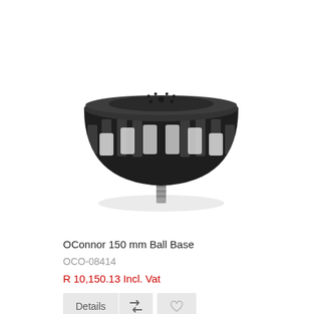[Figure (photo): OConnor 150mm Ball Base product photo — a black bowl-shaped camera base with a lattice/slot pattern around the sides and a threaded stud protruding from the bottom center.]
OConnor 150 mm Ball Base
OCO-08414
R 10,150.13 Incl. Vat
Details